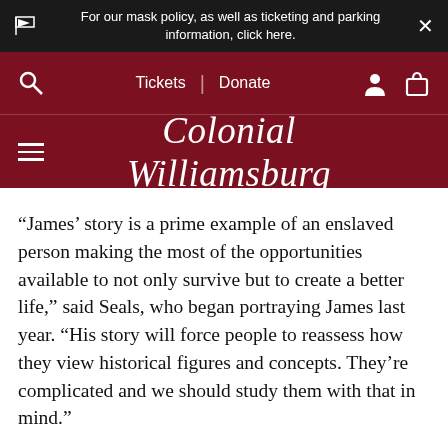For our mask policy, as well as ticketing and parking information, click here.
Tickets | Donate
[Figure (logo): Colonial Williamsburg cursive script logo in white on dark red background]
“James’ story is a prime example of an enslaved person making the most of the opportunities available to not only survive but to create a better life,” said Seals, who began portraying James last year. “His story will force people to reassess how they view historical figures and concepts. They’re complicated and we should study them with that in mind.”